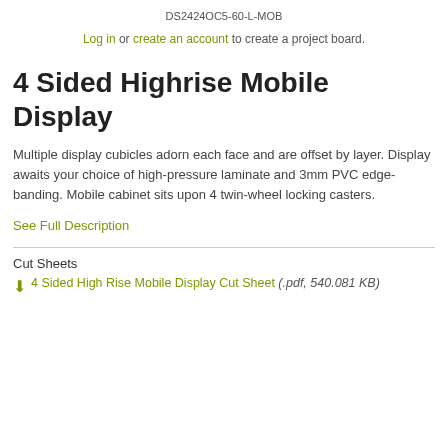DS2424OC5-60-L-MOB
Log in or create an account to create a project board.
4 Sided Highrise Mobile Display
Multiple display cubicles adorn each face and are offset by layer. Display awaits your choice of high-pressure laminate and 3mm PVC edge-banding. Mobile cabinet sits upon 4 twin-wheel locking casters.
See Full Description
Cut Sheets
4 Sided High Rise Mobile Display Cut Sheet (.pdf, 540.081 KB)